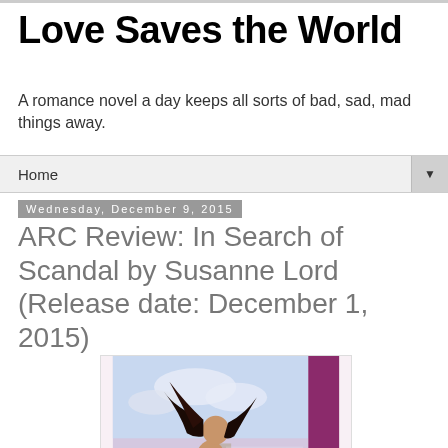Love Saves the World
A romance novel a day keeps all sorts of bad, sad, mad things away.
Home ▼
Wednesday, December 9, 2015
ARC Review: In Search of Scandal by Susanne Lord (Release date: December 1, 2015)
[Figure (illustration): Book cover for 'In Search of Scandal' by Susanne Lord, showing a woman in a white dress with flowing dark hair against a castle background, with a purple spine. Blurb text reads 'BEAUTIFULLY WRITTEN, DEEPLY ROMANTIC, AND UTTERLY MAGNIFICENT.' —New York Times bestselling author Courtney Milan]